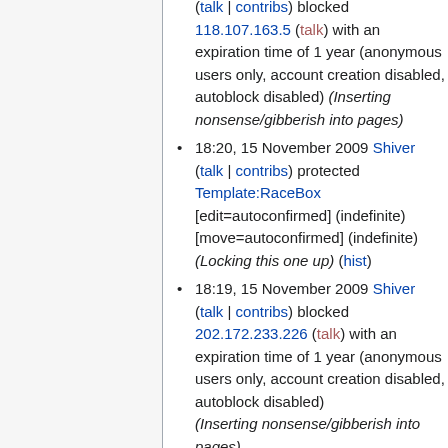(talk | contribs) blocked 118.107.163.5 (talk) with an expiration time of 1 year (anonymous users only, account creation disabled, autoblock disabled) (Inserting nonsense/gibberish into pages)
18:20, 15 November 2009 Shiver (talk | contribs) protected Template:RaceBox [edit=autoconfirmed] (indefinite) [move=autoconfirmed] (indefinite) (Locking this one up) (hist)
18:19, 15 November 2009 Shiver (talk | contribs) blocked 202.172.233.226 (talk) with an expiration time of 1 year (anonymous users only, account creation disabled, autoblock disabled) (Inserting nonsense/gibberish into pages)